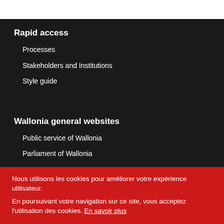Rapid access
Processes
Stakeholders and Institutions
Style guide
Wallonia general websites
Public service of Wallonia
Parliament of Wallonia
Nous utilisons les cookies pour améliorer votre expérience utilisateur.
En poursuivant votre navigation sur ce site, vous acceptez l'utilisation des cookies. En savoir plus